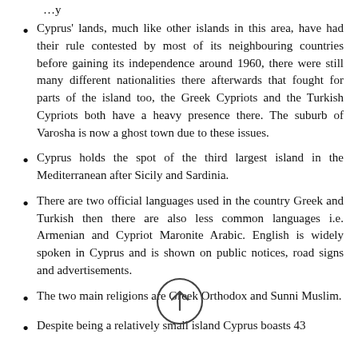Cyprus' lands, much like other islands in this area, have had their rule contested by most of its neighbouring countries before gaining its independence around 1960, there were still many different nationalities there afterwards that fought for parts of the island too, the Greek Cypriots and the Turkish Cypriots both have a heavy presence there. The suburb of Varosha is now a ghost town due to these issues.
Cyprus holds the spot of the third largest island in the Mediterranean after Sicily and Sardinia.
There are two official languages used in the country Greek and Turkish then there are also less common languages i.e. Armenian and Cypriot Maronite Arabic. English is widely spoken in Cyprus and is shown on public notices, road signs and advertisements.
The two main religions are Greek Orthodox and Sunni Muslim.
Despite being a relatively small island Cyprus boasts 43